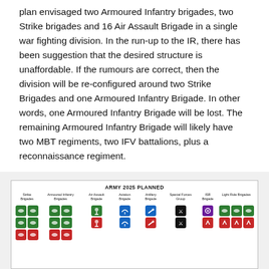plan envisaged two Armoured Infantry brigades, two Strike brigades and 16 Air Assault Brigade in a single war fighting division. In the run-up to the IR, there has been suggestion that the desired structure is unaffordable. If the rumours are correct, then the division will be re-configured around two Strike Brigades and one Armoured Infantry Brigade. In other words, one Armoured Infantry Brigade will be lost. The remaining Armoured Infantry Brigade will likely have two MBT regiments, two IFV battalions, plus a reconnaissance regiment.
[Figure (infographic): Army 2025 Planned organisational chart showing Strike Brigades, Armoured Infantry Brigades, Air Assault Brigade, Aviation Brigade, Artillery Brigade, Special Forces Group, ISR Brigade, and Light Role Brigades represented by coloured icons in rows.]